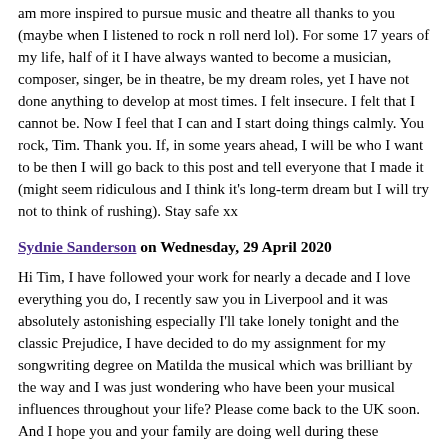am more inspired to pursue music and theatre all thanks to you (maybe when I listened to rock n roll nerd lol). For some 17 years of my life, half of it I have always wanted to become a musician, composer, singer, be in theatre, be my dream roles, yet I have not done anything to develop at most times. I felt insecure. I felt that I cannot be. Now I feel that I can and I start doing things calmly. You rock, Tim. Thank you. If, in some years ahead, I will be who I want to be then I will go back to this post and tell everyone that I made it (might seem ridiculous and I think it's long-term dream but I will try not to think of rushing). Stay safe xx
Sydnie Sanderson on Wednesday, 29 April 2020
Hi Tim, I have followed your work for nearly a decade and I love everything you do, I recently saw you in Liverpool and it was absolutely astonishing especially I'll take lonely tonight and the classic Prejudice, I have decided to do my assignment for my songwriting degree on Matilda the musical which was brilliant by the way and I was just wondering who have been your musical influences throughout your life? Please come back to the UK soon. And I hope you and your family are doing well during these uncertain times. <3
Candice Outlaw on Monday, 27 April 2020